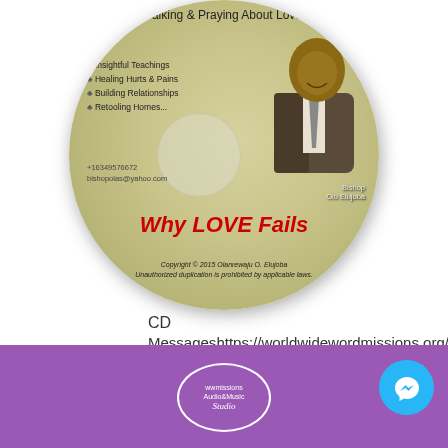[Figure (illustration): CD disc with olive/tan color, title 'Talking & Praying About Love' at top, bullet points listing Insightful Teachings, Healing Hurts & Pains, Building Relationships, Retooling Homes..., contact info +16349576672 and bishopolas@yahoo.com, large red italic bold text 'Why LOVE Fails', copyright notice, and photo of Bishop Olo Elujoba in suit]
CD
Messageshttps://worldwidewordmissions.org/shop/
[Figure (illustration): Purple banner with wwmissions Audio&Music Studio circular badge and Messenger icon button]